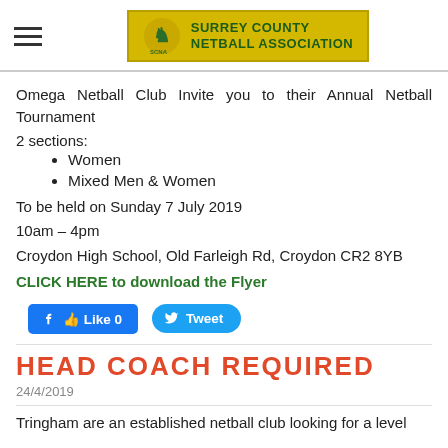SURREY COUNTY NETBALL ASSOCIATION
Omega Netball Club Invite you to their Annual Netball Tournament
2 sections:
Women
Mixed Men & Women
To be held on Sunday 7 July 2019
10am – 4pm
Croydon High School, Old Farleigh Rd, Croydon CR2 8YB
CLICK HERE to download the Flyer
[Figure (other): Facebook Like button showing 0 likes and a Twitter Tweet button]
HEAD COACH REQUIRED
24/4/2019
Tringham are an established netball club looking for a level